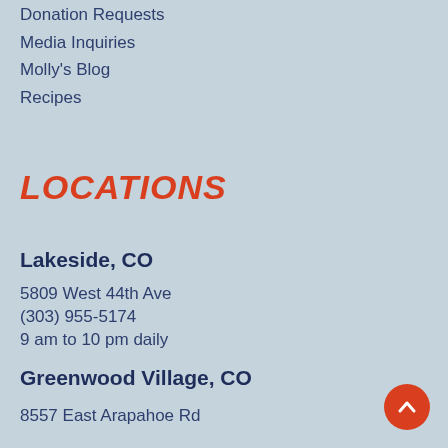Donation Requests
Media Inquiries
Molly's Blog
Recipes
LOCATIONS
Lakeside, CO
5809 West 44th Ave
(303) 955-5174
9 am to 10 pm daily
Greenwood Village, CO
8557 East Arapahoe Rd